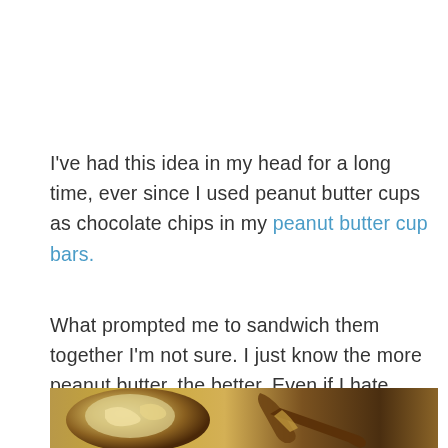I've had this idea in my head for a long time, ever since I used peanut butter cups as chocolate chips in my peanut butter cup bars.
What prompted me to sandwich them together I'm not sure. I just know the more peanut butter, the better. Even if I hate drinking milk.
[Figure (photo): Close-up photo of peanut butter in a bowl and on a spoon, warm brown tones.]